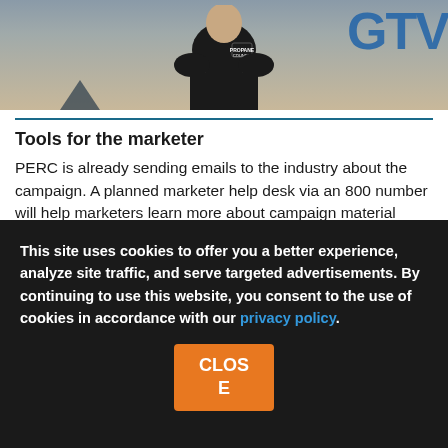[Figure (photo): Person wearing dark jacket with a logo badge, partial upper body visible against a light background. Partial text 'GTV' in blue visible at top right.]
Tools for the marketer
PERC is already sending emails to the industry about the campaign. A planned marketer help desk via an 800 number will help marketers learn more about campaign material availability, when ads are running and how to take full advantage of the campaign. Marketers will be able to pick and choose the campaign tools to use in their areas.
According to an educational session at the Propane Expo...
This site uses cookies to offer you a better experience, analyze site traffic, and serve targeted advertisements. By continuing to use this website, you consent to the use of cookies in accordance with our privacy policy.
CLOSE